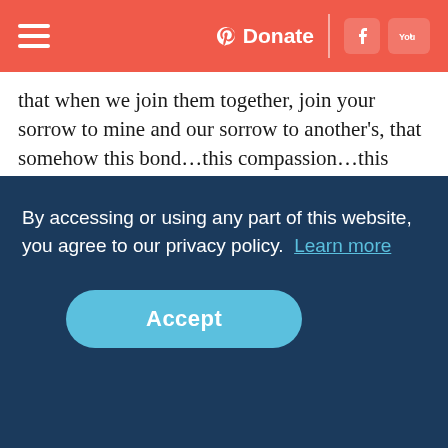Navigation bar with hamburger menu, Donate button, Facebook and YouTube icons
that when we join them together, join your sorrow to mine and our sorrow to another’s, that somehow this bond…this compassion…this community…creates places for joy to dwell.
Perhaps in this way, joy is like the resurrection itself. In the midst of death and gloom where we only expect dark—somehow God’s presence is there. Joy lives in the glue that binds the Good Friday story of death and the Easter Sunday good news of life. It’s in joy’s song where we hear the promise that death [partially obscured] d
[partially obscured] ’s [partially obscured] are transformed into light-filled, hope-filled, life-filled
By accessing or using any part of this website, you agree to our privacy policy.  Learn more
Accept